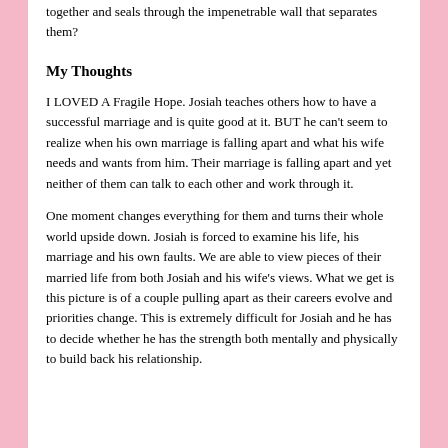together and seals through the impenetrable wall that separates them?
My Thoughts
I LOVED A Fragile Hope. Josiah teaches others how to have a successful marriage and is quite good at it. BUT he can't seem to realize when his own marriage is falling apart and what his wife needs and wants from him. Their marriage is falling apart and yet neither of them can talk to each other and work through it.
One moment changes everything for them and turns their whole world upside down. Josiah is forced to examine his life, his marriage and his own faults. We are able to view pieces of their married life from both Josiah and his wife's views. What we get is this picture is of a couple pulling apart as their careers evolve and priorities change. This is extremely difficult for Josiah and he has to decide whether he has the strength both mentally and physically to build back his relationship.